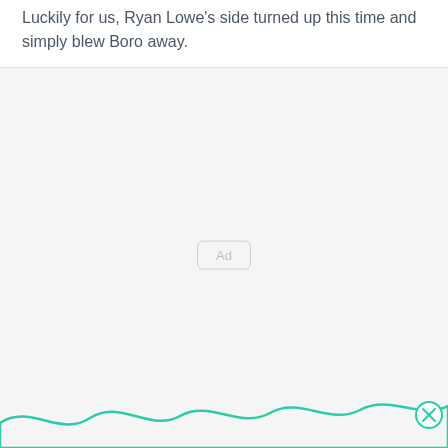Luckily for us, Ryan Lowe's side turned up this time and simply blew Boro away.
[Figure (other): Advertisement placeholder box with 'Ad' label in center, light gray background, with a teal wave decoration at the bottom and a close (X) button in a teal circle at bottom right]